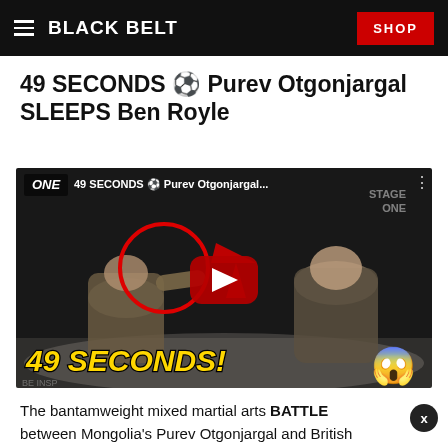BLACK BELT | SHOP
49 SECONDS 🎯 Purev Otgonjargal SLEEPS Ben Royle
[Figure (screenshot): YouTube video thumbnail showing a ONE Championship MMA fight. Title: '49 SECONDS ⚽ Purev Otgonjargal...' Two fighters visible. Red circle annotation highlights a punch. Red arrow points to action. Large red YouTube play button in center. Yellow italic bold text reads '49 SECONDS!' with a scared emoji at bottom right.]
The bantamweight mixed martial arts BATTLE between Mongolia's Purev Otgonjargal and British